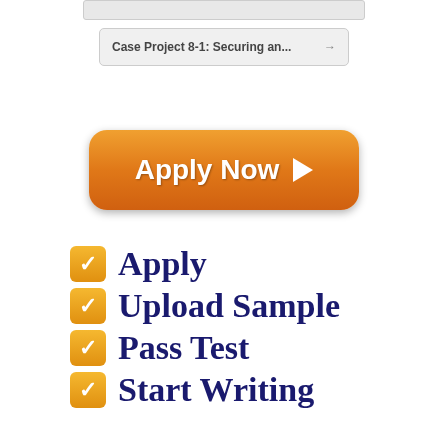[Figure (screenshot): Top navigation bar element (partially visible)]
Case Project 8-1: Securing an... →
[Figure (infographic): Orange 'Apply Now' button with right-pointing arrow triangle]
Apply
Upload Sample
Pass Test
Start Writing